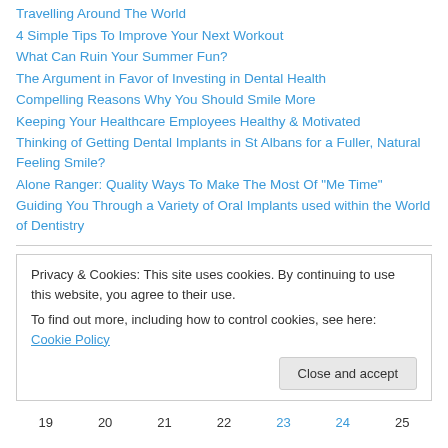Travelling Around The World
4 Simple Tips To Improve Your Next Workout
What Can Ruin Your Summer Fun?
The Argument in Favor of Investing in Dental Health
Compelling Reasons Why You Should Smile More
Keeping Your Healthcare Employees Healthy & Motivated
Thinking of Getting Dental Implants in St Albans for a Fuller, Natural Feeling Smile?
Alone Ranger: Quality Ways To Make The Most Of "Me Time"
Guiding You Through a Variety of Oral Implants used within the World of Dentistry
Privacy & Cookies: This site uses cookies. By continuing to use this website, you agree to their use. To find out more, including how to control cookies, see here: Cookie Policy
Close and accept
19  20  21  22  23  24  25